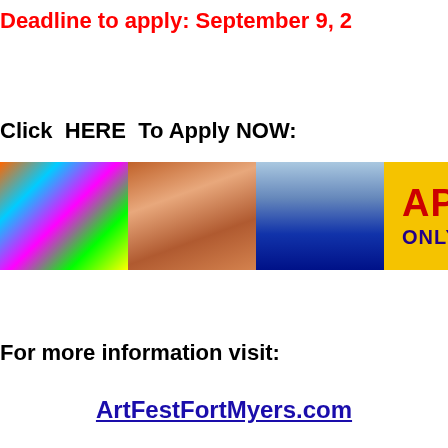Deadline to apply: September 9, 2
Click  HERE  To Apply NOW:
[Figure (infographic): Yellow banner with three art photos on the left and text 'APPLY NOW! ONLY ONE MONTH UNTIL' on the right in red and purple on a yellow background]
For more information visit:
ArtFestFortMyers.com